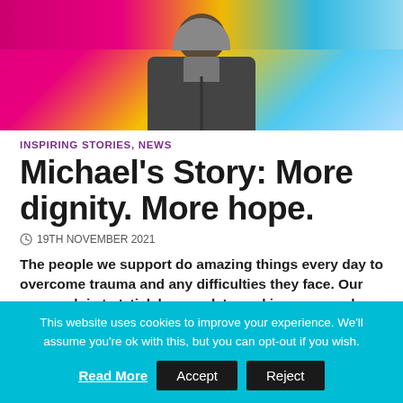[Figure (photo): Person wearing a grey hoodie and dark jacket photographed against a colourful pink/yellow/blue background banner]
INSPIRING STORIES, NEWS
Michael's Story: More dignity. More hope.
19TH NOVEMBER 2021
The people we support do amazing things every day to overcome trauma and any difficulties they face. Our approach is to 'stick by people' – making sure each
This website uses cookies to improve your experience. We'll assume you're ok with this, but you can opt-out if you wish. Read More Accept Reject